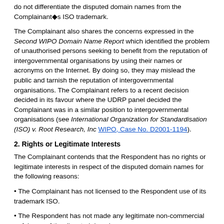do not differentiate the disputed domain names from the Complainant's ISO trademark.
The Complainant also shares the concerns expressed in the Second WIPO Domain Name Report which identified the problem of unauthorised persons seeking to benefit from the reputation of intergovernmental organisations by using their names or acronyms on the Internet. By doing so, they may mislead the public and tarnish the reputation of intergovernmental organisations. The Complainant refers to a recent decision decided in its favour where the UDRP panel decided the Complainant was in a similar position to intergovernmental organisations (see International Organization for Standardisation (ISO) v. Root Research, Inc WIPO, Case No. D2001-1194).
2. Rights or Legitimate Interests
The Complainant contends that the Respondent has no rights or legitimate interests in respect of the disputed domain names for the following reasons:
• The Complainant has not licensed to the Respondent use of its trademark ISO.
• The Respondent has not made any legitimate non-commercial or fair use of the disputed domain names.
• ISO is not a name that would normally be used or which has any bearing on the Respondent's activities, unless the Respondent is seeking to create an impression of association with the Complainant.
3. Registration and use in bad faith